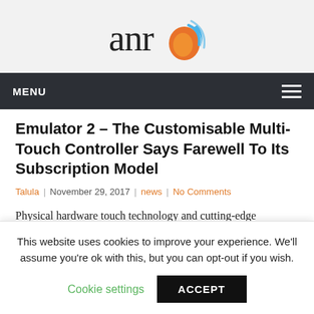[Figure (logo): ANR logo with stylized text 'anr' and an orange/blue flame icon]
MENU
Emulator 2 – The Customisable Multi-Touch Controller Says Farewell To Its Subscription Model
Talula  |  November 29, 2017  |  news  |  No Comments
Physical hardware touch technology and cutting-edge software specialist Touch Innovations has brought
This website uses cookies to improve your experience. We'll assume you're ok with this, but you can opt-out if you wish.
Cookie settings    ACCEPT